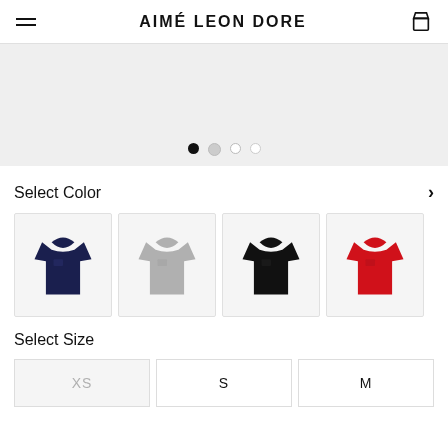AIMÉ LEON DORE
[Figure (photo): Product image carousel showing a navy t-shirt with 4 navigation dots below]
Select Color
[Figure (photo): Four color swatches of t-shirts: navy blue, grey, black, and red]
Select Size
| XS | S | M |
| --- | --- | --- |
| XS | S | M |